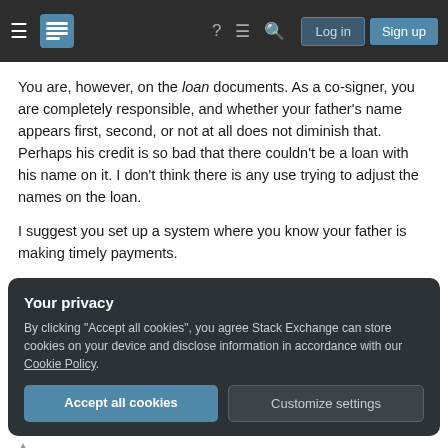Stack Exchange navigation bar with logo, help, chat, search, Log in, Sign up
You are, however, on the loan documents. As a co-signer, you are completely responsible, and whether your father's name appears first, second, or not at all does not diminish that. Perhaps his credit is so bad that there couldn't be a loan with his name on it. I don't think there is any use trying to adjust the names on the loan.
I suggest you set up a system where you know your father is making timely payments.
Your privacy
By clicking "Accept all cookies", you agree Stack Exchange can store cookies on your device and disclose information in accordance with our Cookie Policy.
Accept all cookies
Customize settings
I would talk with the finance company and provide